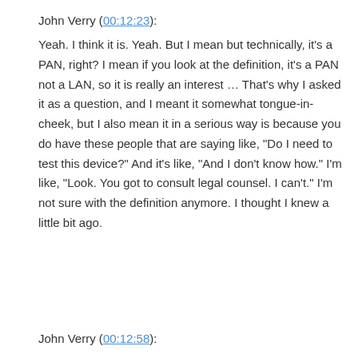John Verry (00:12:23):
Yeah. I think it is. Yeah. But I mean but technically, it’s a PAN, right? I mean if you look at the definition, it’s a PAN not a LAN, so it is really an interest … That’s why I asked it as a question, and I meant it somewhat tongue-in-cheek, but I also mean it in a serious way is because you do have these people that are saying like, “Do I need to test this device?” And it’s like, “And I don’t know how.” I’m like, “Look. You got to consult legal counsel. I can’t.” I’m not sure with the definition anymore. I thought I knew a little bit ago.
John Verry (00:12:58):